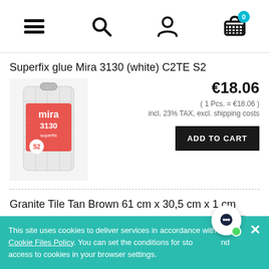Navigation bar with menu, search, account, and cart icons (cart shows 0 items)
Superfix glue Mira 3130 (white) C2TE S2
[Figure (photo): Product image of Mira 3130 Superfix S2 white tile adhesive bag]
€18.06
( 1 Pcs. = €18.06 )
incl. 23% TAX, excl. shipping costs
ADD TO CART
Granite Tile Tan Brown 61 cm x 30,5 cm x 1 cm
[Figure (photo): Partial product image of Granite Tile Tan Brown]
This site uses cookies to deliver services in accordance with the Cookie Files Policy. You can set the conditions for storing and access to cookies in your browser settings.